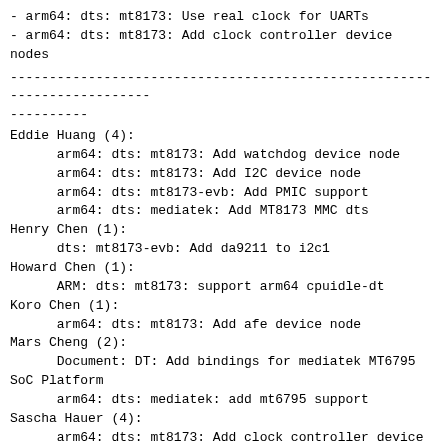- arm64: dts: mt8173: Use real clock for UARTs
- arm64: dts: mt8173: Add clock controller device nodes
------------------------------------------------------------------------
----------
Eddie Huang (4):
      arm64: dts: mt8173: Add watchdog device node
      arm64: dts: mt8173: Add I2C device node
      arm64: dts: mt8173-evb: Add PMIC support
      arm64: dts: mediatek: Add MT8173 MMC dts
Henry Chen (1):
      dts: mt8173-evb: Add da9211 to i2c1
Howard Chen (1):
      ARM: dts: mt8173: support arm64 cpuidle-dt
Koro Chen (1):
      arm64: dts: mt8173: Add afe device node
Mars Cheng (2):
      Document: DT: Add bindings for mediatek MT6795
SoC Platform
      arm64: dts: mediatek: add mt6795 support
Sascha Hauer (4):
      arm64: dts: mt8173: Add clock controller device
nodes
      arm64: dts: mt8173: Use real clock for UARTs
      arm64: dts: mt8173: Add PMIC wrapper device node
      arm64: dts: MT8173: Add SYSCFG device node